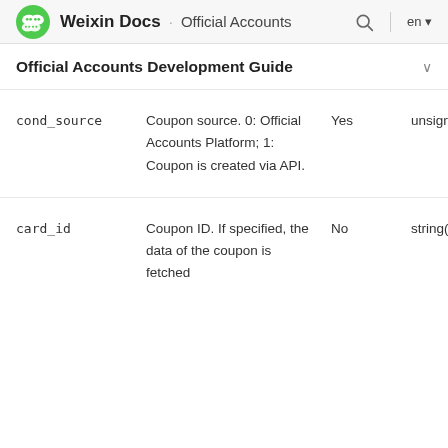Weixin Docs · Official Accounts
Official Accounts Development Guide
| Field | Description | Required | Type |
| --- | --- | --- | --- |
| cond_source | Coupon source. 0: Official Accounts Platform; 1: Coupon is created via API. | Yes | unsigned int |
| card_id | Coupon ID. If specified, the data of the coupon is fetched | No | string(32) |